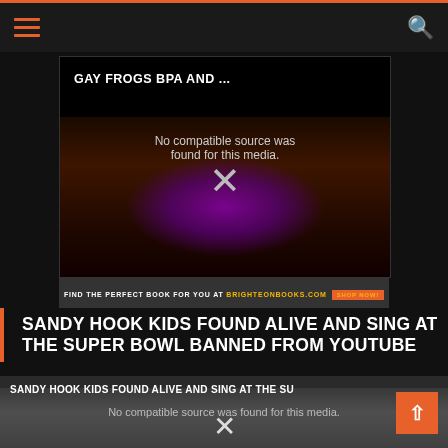Navigation header with hamburger menu and search icon
[Figure (screenshot): Video thumbnail showing GAY FROGS BPA AND ... title overlay with frog imagery and 'No compatible source was found for this media.' error and X mark]
[Figure (screenshot): Brighteon Books advertisement bar: FIND THE PERFECT BOOK FOR YOU AT BRIGHTEONBOOKS.COM]
SANDY HOOK KIDS FOUND ALIVE AND SING AT THE SUPER BOWL BANNED FROM YOUTUBE
[Figure (screenshot): Video player showing SANDY HOOK KIDS FOUND ALIVE AND SING AT THE SU title with 'No compatible source was found for this media.' error, group of people in white shirts image, X mark, and orange scroll-up button]